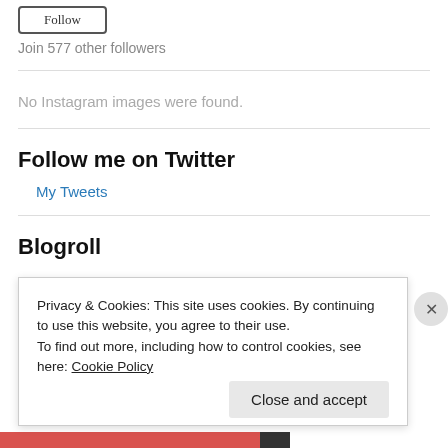[Figure (other): Follow button (pill-shaped outline button, partially visible at top)]
Join 577 other followers
No Instagram images were found.
Follow me on Twitter
My Tweets
Blogroll
Privacy & Cookies: This site uses cookies. By continuing to use this website, you agree to their use.
To find out more, including how to control cookies, see here: Cookie Policy
Close and accept